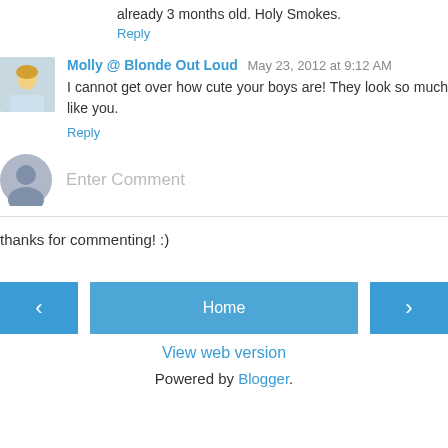already 3 months old. Holy Smokes.
Reply
Molly @ Blonde Out Loud  May 23, 2012 at 9:12 AM
I cannot get over how cute your boys are! They look so much like you.
Reply
Enter Comment
thanks for commenting! :)
Home
View web version
Powered by Blogger.